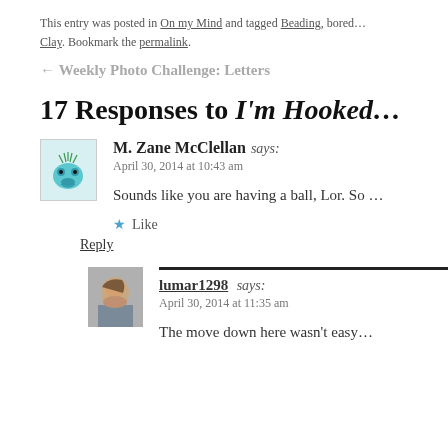This entry was posted in On my Mind and tagged Beading, bored... Clay. Bookmark the permalink.
← Weekly Photo Challenge: Letters
17 Responses to I'm Hooked...
M. Zane McClellan says:
April 30, 2014 at 10:43 am

Sounds like you are having a ball, Lor. So ...
★ Like
Reply
lumar1298 says:
April 30, 2014 at 11:35 am

The move down here wasn't easy...